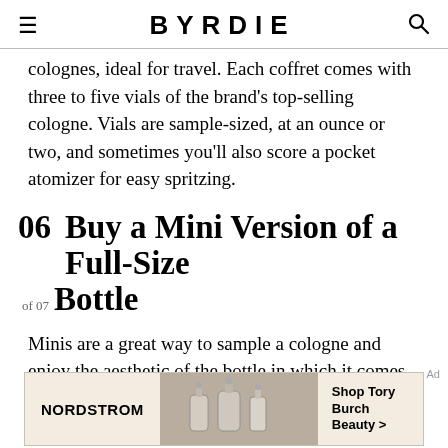BYRDIE
colognes, ideal for travel. Each coffret comes with three to five vials of the brand's top-selling cologne. Vials are sample-sized, at an ounce or two, and sometimes you'll also score a pocket atomizer for easy spritzing.
06 Buy a Mini Version of a Full-Size Bottle (of 07)
Minis are a great way to sample a cologne and enjoy the aesthetic of the bottle in which it comes, if you're into that kind of thing. After all cologne is all about
[Figure (other): Nordstrom advertisement banner: Shop Tory Burch Beauty > with perfume bottle image]